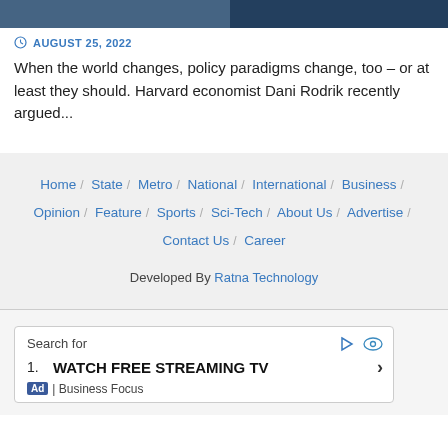[Figure (photo): Dark blue/grey banner image, partial view of a photograph at the top of the page]
AUGUST 25, 2022
When the world changes, policy paradigms change, too – or at least they should. Harvard economist Dani Rodrik recently argued...
Home / State / Metro / National / International / Business / Opinion / Feature / Sports / Sci-Tech / About Us / Advertise / Contact Us / Career
Developed By Ratna Technology
[Figure (other): Advertisement: Search for - WATCH FREE STREAMING TV - Ad | Business Focus]